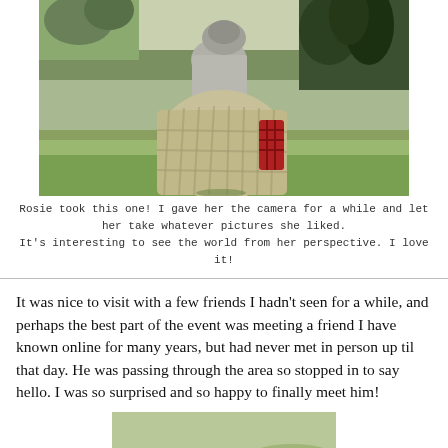[Figure (photo): A person in a historical-style plaid/checkered voluminous skirt and grey blouse, standing in an outdoor field with trees in the background, viewed from behind/side angle.]
Rosie took this one! I gave her the camera for a while and let her take whatever pictures she liked.
It's interesting to see the world from her perspective. I love it!
It was nice to visit with a few friends I hadn't seen for a while, and perhaps the best part of the event was meeting a friend I have known online for many years, but had never met in person up til that day. He was passing through the area so stopped in to say hello. I was so surprised and so happy to finally meet him!
[Figure (photo): Partial view of a grass field, blurred/out of focus, green tones.]